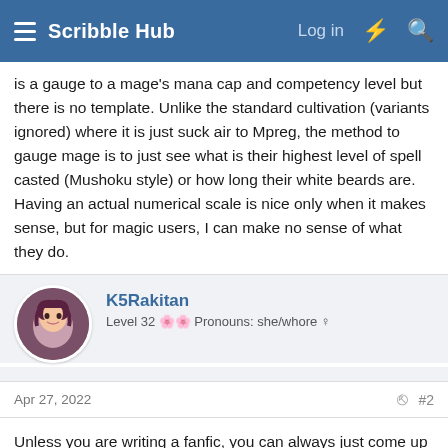Scribble Hub
is a gauge to a mage's mana cap and competency level but there is no template. Unlike the standard cultivation (variants ignored) where it is just suck air to Mpreg, the method to gauge mage is to just see what is their highest level of spell casted (Mushoku style) or how long their white beards are. Having an actual numerical scale is nice only when it makes sense, but for magic users, I can make no sense of what they do.
K5Rakitan
Level 32 🌸🌸 Pronouns: she/whore ♀
Apr 27, 2022
#2
Unless you are writing a fanfic, you can always just come up with your own name for it.
😍 NotaNuffian